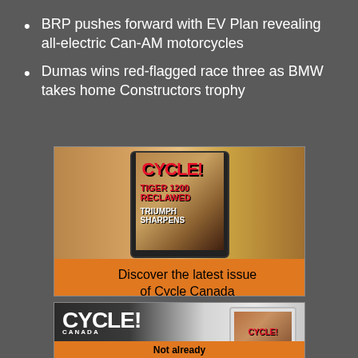BRP pushes forward with EV Plan revealing all-electric Can-AM motorcycles
Dumas wins red-flagged race three as BMW takes home Constructors trophy
[Figure (illustration): Advertisement for Cycle Canada magazine showing a tablet device displaying the magazine cover with 'TIGER 1200 RECLAWED TRIUMPH SHARPENS' text over a desert landscape background, with an orange banner reading 'Discover the latest issue of Cycle Canada']
[Figure (illustration): Second advertisement showing Cycle Canada logo text and a tablet device, with an orange banner at the bottom reading 'Not already']